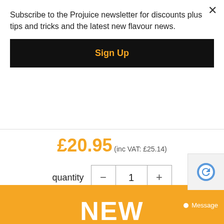Subscribe to the Projuice newsletter for discounts plus tips and tricks and the latest new flavour news.
Sign Up
£20.95 (inc VAT: £25.14)
quantity  −  1  +
details
add to basket
[Figure (other): reCAPTCHA widget icon]
Message
NEW